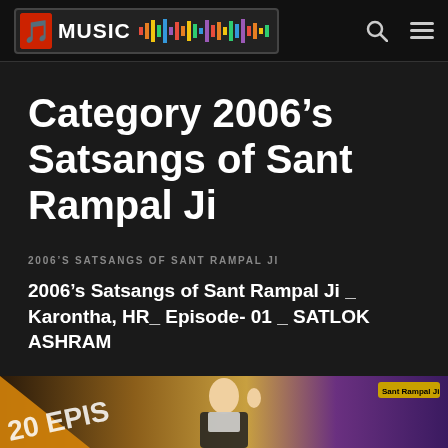MUSIC
Category 2006’s Satsangs of Sant Rampal Ji
2006'S SATSANGS OF SANT RAMPAL JI
2006’s Satsangs of Sant Rampal Ji _ Karontha, HR_ Episode- 01 _ SATLOK ASHRAM
[Figure (photo): Thumbnail image showing a person with raised hand, partial text '20 EPIS' on orange diagonal banner, purple background gradient, 'Sant Rampal Ji' badge top right]